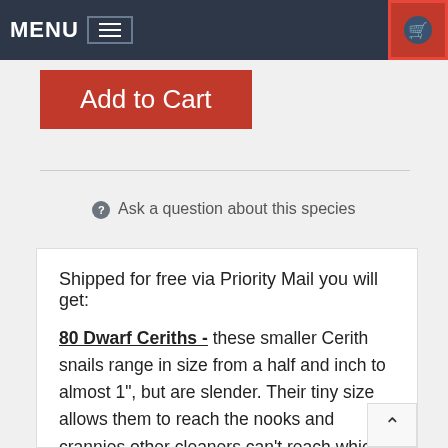MENU  ☰
Add to Cart
❓ Ask a question about this species
Shipped for free via Priority Mail you will get:

80 Dwarf Ceriths - these smaller Cerith snails range in size from a half and inch to almost 1", but are slender. Their tiny size allows them to reach the nooks and crannies other cleaners can't reach which is necessary for permanent removal of algae sources. These snails will consume diatoms, cyano, film algae, detritus, and hair algae in the substrate as well as on rocks and to some extent the...